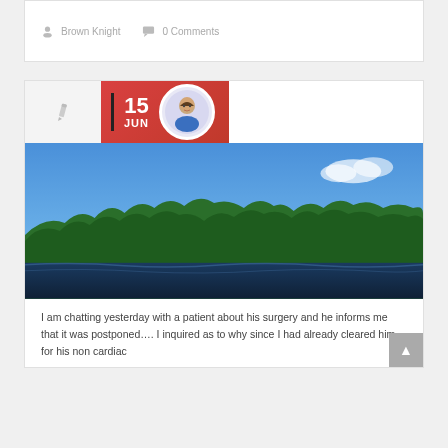Brown Knight   0 Comments
[Figure (photo): Blog post header with date badge showing 15 JUN, pencil icon, avatar, and a lake/forest landscape photo]
I am chatting yesterday with a patient about his surgery and he informs me that it was postponed.... I inquired as to why since I had already cleared him for his non cardiac